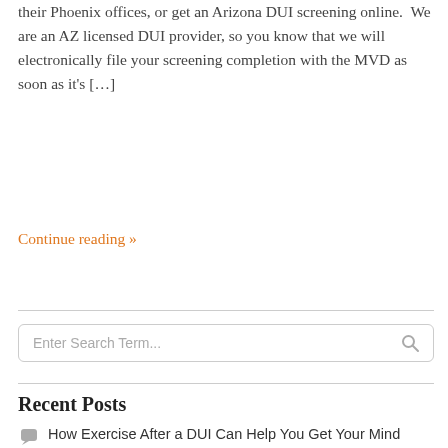their Phoenix offices, or get an Arizona DUI screening online.  We are an AZ licensed DUI provider, so you know that we will electronically file your screening completion with the MVD as soon as it's […]
Continue reading »
[Figure (other): Search input box with placeholder text 'Enter Search Term...' and a magnifying glass icon]
Recent Posts
How Exercise After a DUI Can Help You Get Your Mind Straight
Addressing Anger Issues While Going Through DUI Treatment
How Not to Enable Behavior When Someone